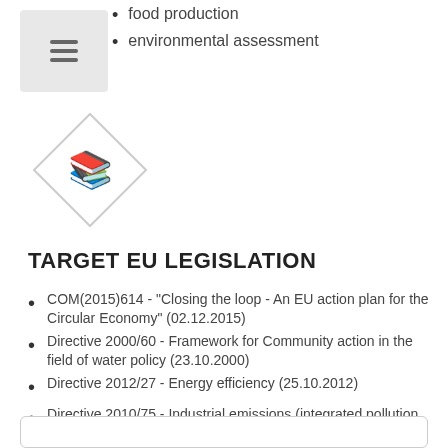food production
environmental assessment
[Figure (illustration): Diamond-shaped icon with an open book symbol inside, light grey outline diamond with dark blue book icon]
TARGET EU LEGISLATION
COM(2015)614 - "Closing the loop - An EU action plan for the Circular Economy" (02.12.2015)
Directive 2000/60 - Framework for Community action in the field of water policy (23.10.2000)
Directive 2012/27 - Energy efficiency (25.10.2012)
Directive 2010/75 - Industrial emissions (integrated pollution prevention and control) (24.11.2010)